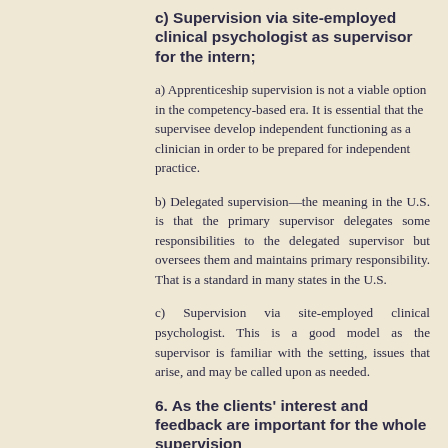c) Supervision via site-employed clinical psychologist as supervisor for the intern;
a) Apprenticeship supervision is not a viable option in the competency-based era. It is essential that the supervisee develop independent functioning as a clinician in order to be prepared for independent practice.
b) Delegated supervision—the meaning in the U.S. is that the primary supervisor delegates some responsibilities to the delegated supervisor but oversees them and maintains primary responsibility. That is a standard in many states in the U.S.
c) Supervision via site-employed clinical psychologist. This is a good model as the supervisor is familiar with the setting, issues that arise, and may be called upon as needed.
6. As the clients’ interest and feedback are important for the whole supervision